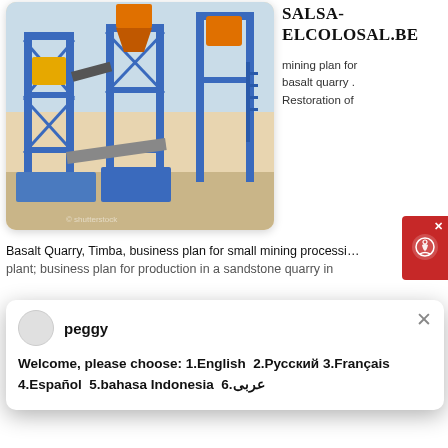[Figure (photo): Blue industrial equipment/machinery, likely a concrete batching plant or quarry processing plant with steel framework and conveyor belts]
Salsa-Elcolosal.Be
mining plan for basalt quarry . Restoration of Basalt Quarry, Timba, business plan for small mining processing plant; business plan for production in a sandstone quarry in
Welcome, please choose: 1.English 2.Русский 3.Français 4.Español 5.bahasa Indonesia 6.عربى
[Figure (photo): Quarry mining operation with orange excavator/crusher machinery surrounded by crushed stone/aggregate material]
Near Wandermere Estates >
Spokane Valley-based Central Pre-Mix Concrete Co. says it plans to expand a basalt quarry on a square mile of property it owns in the Wandermere area north of